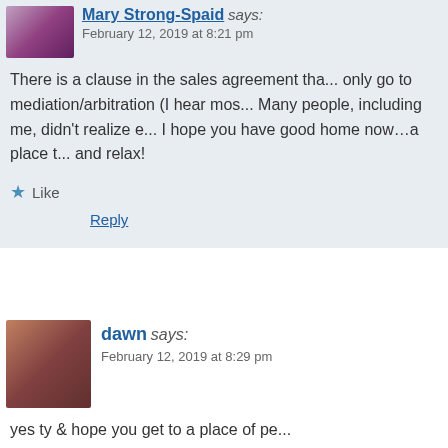Mary Strong-Spaid says:
February 12, 2019 at 8:21 pm
There is a clause in the sales agreement tha... only go to mediation/arbitration (I hear mos... Many people, including me, didn't realize e... I hope you have good home now…a place t... and relax!
Like
Reply
dawn says:
February 12, 2019 at 8:29 pm
yes ty & hope you get to a place of pe...
Liked by 1 person
Reply